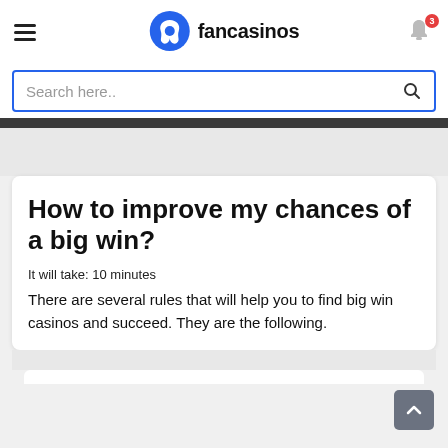fancasinos
Search here..
How to improve my chances of a big win?
It will take: 10 minutes
There are several rules that will help you to find big win casinos and succeed. They are the following.